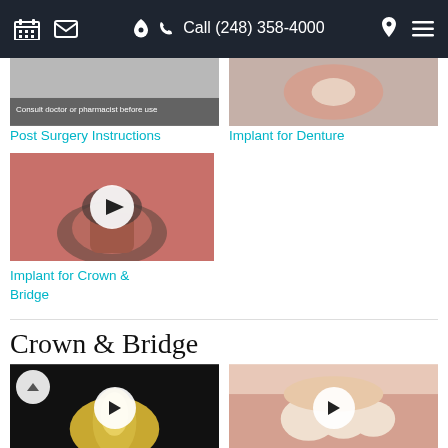Call (248) 358-4000
[Figure (screenshot): Video thumbnail for Post Surgery Instructions with overlay text 'Consult doctor or pharmacist before use']
Post Surgery Instructions
[Figure (screenshot): Video thumbnail for Implant for Denture showing a dental implant]
Implant for Denture
[Figure (screenshot): Video thumbnail for Implant for Crown & Bridge showing a dental implant in gum tissue with play button]
Implant for Crown & Bridge
Crown & Bridge
[Figure (screenshot): Video thumbnail showing a dental crown on black background with play button and scroll-up button]
[Figure (screenshot): Video thumbnail showing a dental crown and bridge procedure with play button]